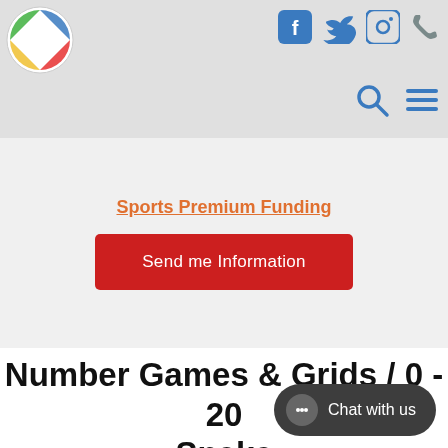Uniplay logo with social icons (Facebook, Twitter, Instagram, Phone) and search/menu controls
Sports Premium Funding
Send me Information
Number Games & Grids / 0 - 20 Snake
Chat with us